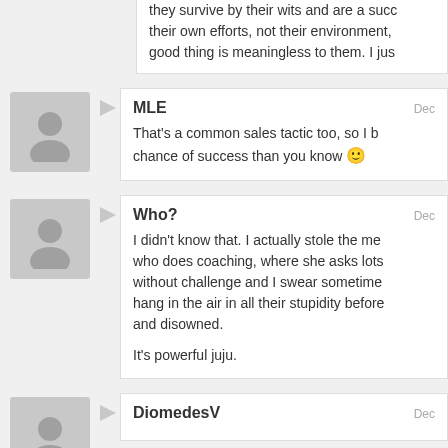they survive by their wits and are a succ… their own efforts, not their environment, … good thing is meaningless to them. I jus…
MLE
Dec
That's a common sales tactic too, so I b… chance of success than you know 🙂
Who?
Dec
I didn't know that. I actually stole the me… who does coaching, where she asks lots… without challenge and I swear sometime… hang in the air in all their stupidity before… and disowned.
It's powerful juju.
DiomedesV
Dec